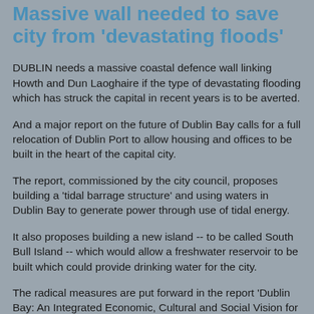Massive wall needed to save city from 'devastating floods'
DUBLIN needs a massive coastal defence wall linking Howth and Dun Laoghaire if the type of devastating flooding which has struck the capital in recent years is to be averted.
And a major report on the future of Dublin Bay calls for a full relocation of Dublin Port to allow housing and offices to be built in the heart of the capital city.
The report, commissioned by the city council, proposes building a 'tidal barrage structure' and using waters in Dublin Bay to generate power through use of tidal energy.
It also proposes building a new island -- to be called South Bull Island -- which would allow a freshwater reservoir to be built which could provide drinking water for the city.
The radical measures are put forward in the report 'Dublin Bay: An Integrated Economic, Cultural and Social Vision for Sustainable Development'.